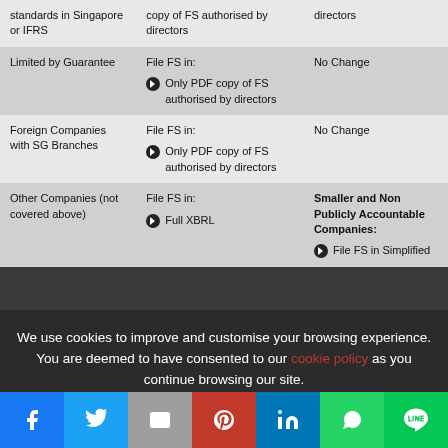| Company Type | Filing Requirement | Change |
| --- | --- | --- |
| standards in Singapore or IFRS | copy of FS authorised by directors | directors |
| Limited by Guarantee | File FS in:
• Only PDF copy of FS authorised by directors | No Change |
| Foreign Companies with SG Branches | File FS in:
• Only PDF copy of FS authorised by directors | No Change |
| Other Companies (not covered above) | File FS in:
• Full XBRL | Smaller and Non Publicly Accountable Companies:
• File FS in Simplified... |
We use cookies to improve and customise your browsing experience. You are deemed to have consented to our cookie policy as you continue browsing our site.
OK